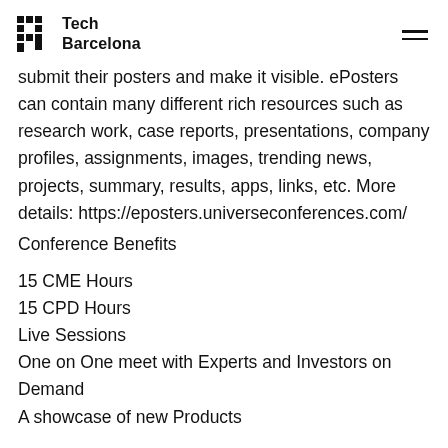Tech Barcelona
submit their posters and make it visible. ePosters can contain many different rich resources such as research work, case reports, presentations, company profiles, assignments, images, trending news, projects, summary, results, apps, links, etc. More details: https://eposters.universeconferences.com/
Conference Benefits
15 CME Hours
15 CPD Hours
Live Sessions
One on One meet with Experts and Investors on Demand
A showcase of new Products